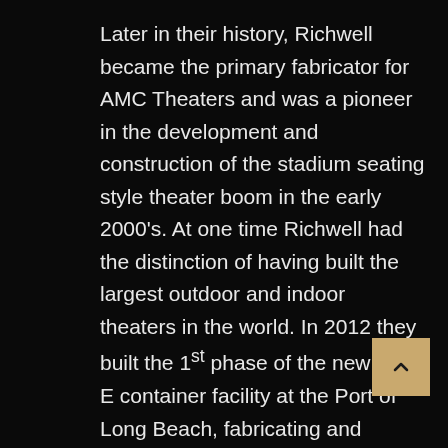Later in their history, Richwell became the primary fabricator for AMC Theaters and was a pioneer in the development and construction of the stadium seating style theater boom in the early 2000's. At one time Richwell had the distinction of having built the largest outdoor and indoor theaters in the world. In 2012 they built the 1st phase of the new Pier E container facility at the Port of Long Beach, fabricating and erecting 15 support structures for refrigerated container logistics. This project enabled the company to increase its property holdings which made it a perfect